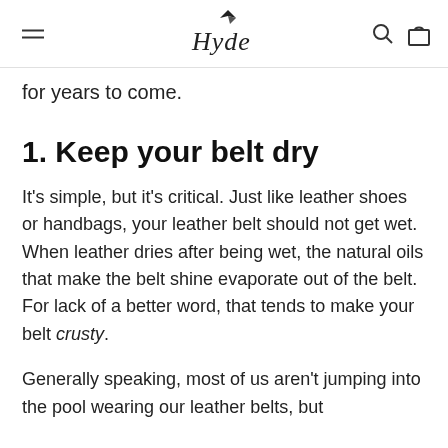Hyde (logo, navigation icons)
for years to come.
1. Keep your belt dry
It's simple, but it's critical. Just like leather shoes or handbags, your leather belt should not get wet. When leather dries after being wet, the natural oils that make the belt shine evaporate out of the belt. For lack of a better word, that tends to make your belt crusty.
Generally speaking, most of us aren't jumping into the pool wearing our leather belts, but